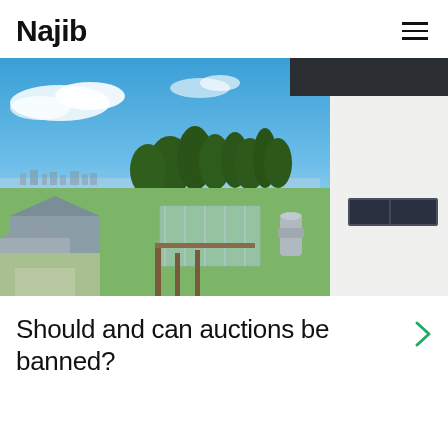Najib
[Figure (photo): Aerial/elevated view of a suburban New Zealand neighbourhood with trees, houses, greenery, and a city/coastal horizon in the background under a blue sky with white clouds. In the right foreground is a modern white house with a dark roof overhang and a horizontal window.]
Should and can auctions be banned?